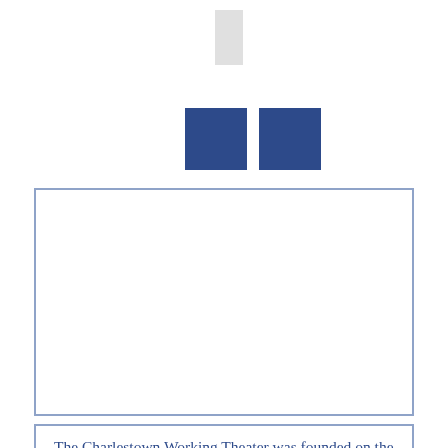[Figure (other): Small light gray rectangle near top center of page]
[Figure (other): Two dark blue squares side by side]
[Figure (other): Large empty white rectangle with blue-gray border]
The Charlestown Working Theater was founded on the idea that a theater and a community can engage in a dialogue…